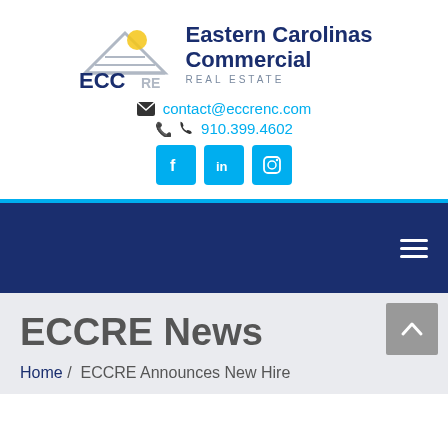[Figure (logo): Eastern Carolinas Commercial Real Estate (ECCRE) logo with building icon and sun]
contact@eccrenc.com
910.399.4602
[Figure (other): Social media icons: Facebook, LinkedIn, Instagram]
Navigation bar with hamburger menu
ECCRE News
Home / ECCRE Announces New Hire